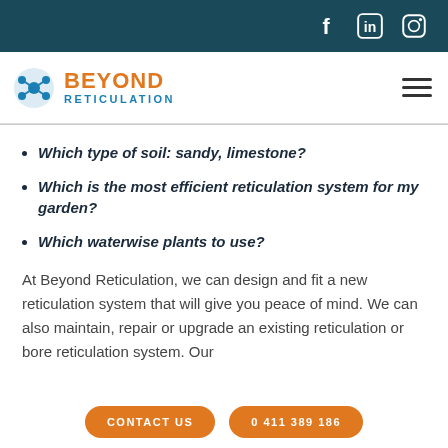Social media icons: Facebook, LinkedIn, Instagram
[Figure (logo): Beyond Reticulation logo with circular blue icon and orange BEYOND text with blue RETICULATION subtext]
Which type of soil: sandy, limestone?
Which is the most efficient reticulation system for my garden?
Which waterwise plants to use?
At Beyond Reticulation, we can design and fit a new reticulation system that will give you peace of mind. We can also maintain, repair or upgrade an existing reticulation or bore reticulation system. Our